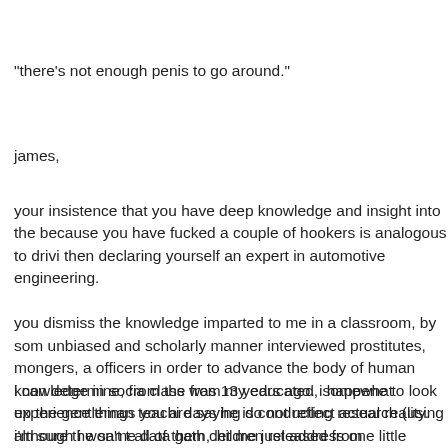"there's not enough penis to go around."
james,
your insistence that you have deep knowledge and insight into the because you have fucked a couple of hookers is analogous to drivi then declaring yourself an expert in automotive engineering.
you dismiss the knowledge imparted to me in a classroom, by som unbiased and scholarly manner interviewed prostitutes, mongers, a officers in order to advance the body of human knowledge in socia class was 13 years ago. i happene to look up the gentleman teachi days he is conducting research (using i'm sure the same data gath children released from orphanages into russian society at the age o anything he discovers in the course of his research is invalid becau research subjects.
i can determine, from the from my educated, somewhat experience things you are saying do not reflect actual reality. although i won't t all of them, let me just address one little thing. you describe a hype motivated, goal directed army of attractive 18, 19, and 20 year old picked up a streetwalker in la, but i know have known probably 3-4 girls over the last 20 years of my life. as a class, they tend to be flig furthermore, i have known a lot of fucked up girls-[url=http://isgprob CodeWord=CodeWord123][CodeWord123][/url] and [url=http://isgp